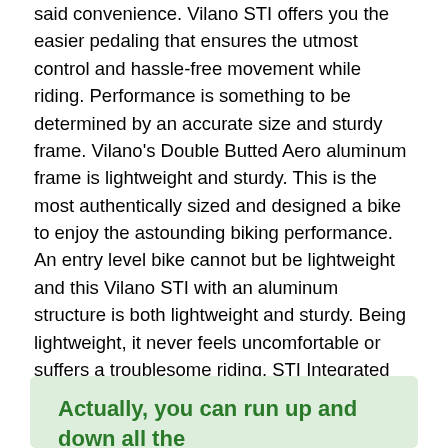said convenience. Vilano STI offers you the easier pedaling that ensures the utmost control and hassle-free movement while riding. Performance is something to be determined by an accurate size and sturdy frame. Vilano's Double Butted Aero aluminum frame is lightweight and sturdy. This is the most authentically sized and designed a bike to enjoy the astounding biking performance. An entry level bike cannot but be lightweight and this Vilano STI with an aluminum structure is both lightweight and sturdy. Being lightweight, it never feels uncomfortable or suffers a troublesome riding. STI Integrated Brake Lever and the 700c fork along with premium quality wheelset, you will enjoy the hardcore bike speed. The said features are responsible for a satisfactory speed to be a fan of.
Actually, you can run up and down all the